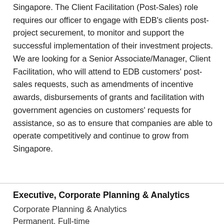Singapore. The Client Facilitation (Post-Sales) role requires our officer to engage with EDB's clients post-project securement, to monitor and support the successful implementation of their investment projects. We are looking for a Senior Associate/Manager, Client Facilitation, who will attend to EDB customers' post-sales requests, such as amendments of incentive awards, disbursements of grants and facilitation with government agencies on customers' requests for assistance, so as to ensure that companies are able to operate competitively and continue to grow from Singapore.
Executive, Corporate Planning & Analytics
Corporate Planning & Analytics
Permanent, Full-time